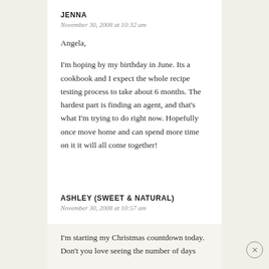JENNA
November 30, 2008 at 10:32 am
Angela,

I'm hoping by my birthday in June. Its a cookbook and I expect the whole recipe testing process to take about 6 months. The hardest part is finding an agent, and that's what I'm trying to do right now. Hopefully once move home and can spend more time on it it will all come together!
ASHLEY (SWEET & NATURAL)
November 30, 2008 at 10:57 am
I'm starting my Christmas countdown today. Don't you love seeing the number of days